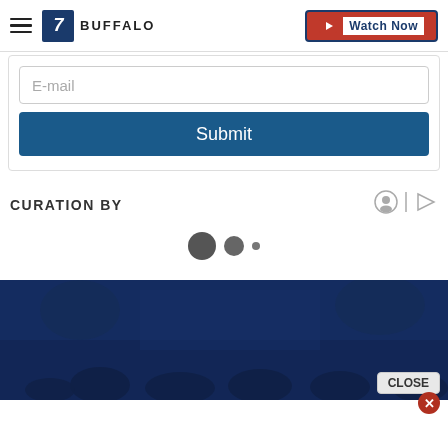7 BUFFALO | Watch Now
E-mail
Submit
CURATION BY
[Figure (other): Loading spinner dots: one large dark circle, one medium dark circle, one small dark dot]
[Figure (photo): Dark blue tinted photo of a crowd of people outdoors near a building with trees in background]
CLOSE